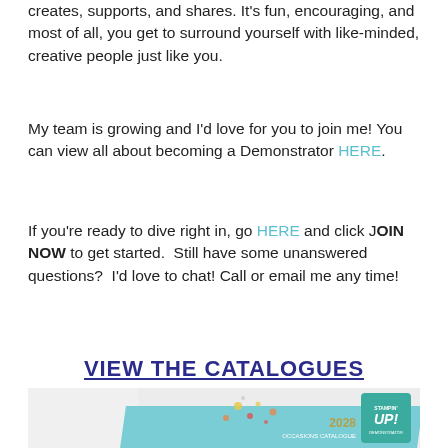creates, supports, and shares. It's fun, encouraging, and most of all, you get to surround yourself with like-minded, creative people just like you.
My team is growing and I'd love for you to join me! You can view all about becoming a Demonstrator HERE.
If you're ready to dive right in, go HERE and click JOIN NOW to get started. Still have some unanswered questions? I'd love to chat! Call or email me any time!
VIEW THE CATALOGUES
[Figure (photo): Stampin' Up! 2028 Occasions Catalogue cover photo showing craft supplies on a teal background with the Stampin' Up! logo badge]